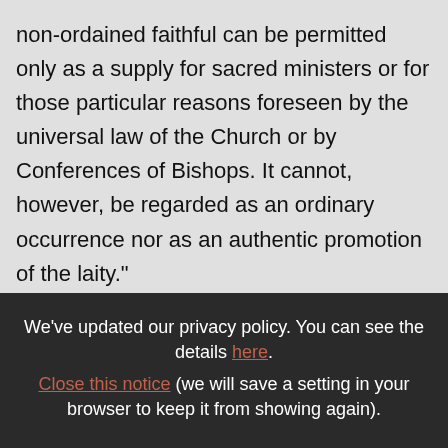non-ordained faithful can be permitted only as a supply for sacred ministers or for those particular reasons foreseen by the universal law of the Church or by Conferences of Bishops. It cannot, however, be regarded as an ordinary occurrence nor as an authentic promotion of the laity."

Third: Can these people deliver the homily during Mass and is a priest beginning a homily with someone else continuing it a case of
We've updated our privacy policy. You can see the details here. Close this notice (we will save a setting in your browser to keep it from showing again).